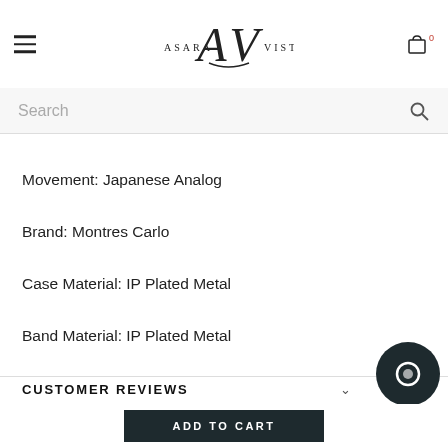Asara Vista — navigation header with hamburger menu, logo, and cart icon (0 items)
Search
Movement: Japanese Analog
Brand: Montres Carlo
Case Material: IP Plated Metal
Band Material: IP Plated Metal
CUSTOMER REVIEWS
[Figure (other): Dark circular chat widget button]
ADD TO CART